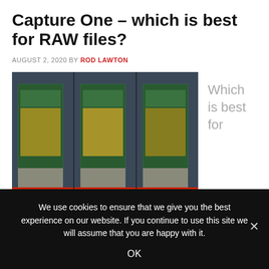Capture One – which is best for RAW files?
AUGUST 2, 2020 BY ROD LAWTON
[Figure (photo): Three side-by-side comparison photos of a tall modern glass skyscraper at dusk, labeled DXO PHOTOLAB, LIGHTROOM, and CAPTURE ONE respectively]
Which is best for
We use cookies to ensure that we give you the best experience on our website. If you continue to use this site we will assume that you are happy with it.
OK